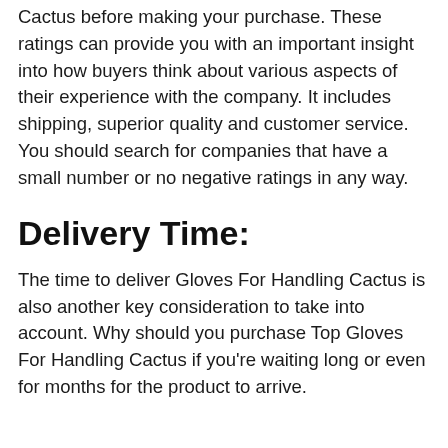Cactus before making your purchase. These ratings can provide you with an important insight into how buyers think about various aspects of their experience with the company. It includes shipping, superior quality and customer service. You should search for companies that have a small number or no negative ratings in any way.
Delivery Time:
The time to deliver Gloves For Handling Cactus is also another key consideration to take into account. Why should you purchase Top Gloves For Handling Cactus if you're waiting long or even for months for the product to arrive.